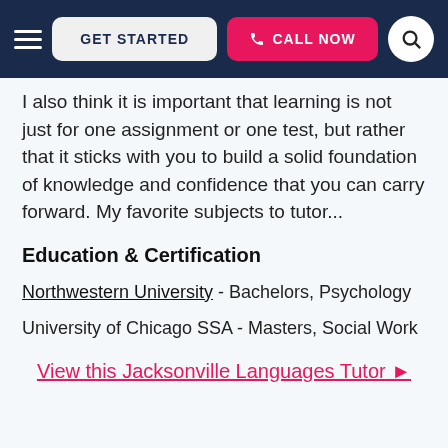GET STARTED | CALL NOW
I also think it is important that learning is not just for one assignment or one test, but rather that it sticks with you to build a solid foundation of knowledge and confidence that you can carry forward. My favorite subjects to tutor...
Education & Certification
Northwestern University - Bachelors, Psychology
University of Chicago SSA - Masters, Social Work
View this Jacksonville Languages Tutor ▶